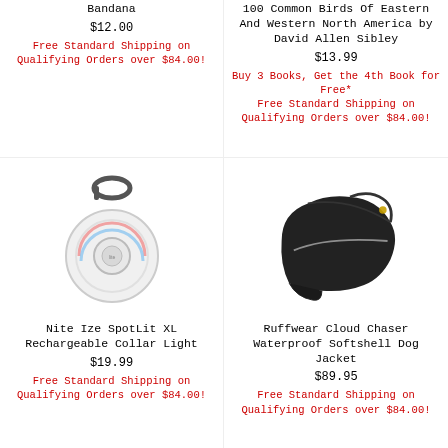Bandana
$12.00
Free Standard Shipping on Qualifying Orders over $84.00!
100 Common Birds Of Eastern And Western North America by David Allen Sibley
$13.99
Buy 3 Books, Get the 4th Book for Free* Free Standard Shipping on Qualifying Orders over $84.00!
[Figure (photo): Nite Ize SpotLit XL Rechargeable Collar Light - a round LED light with carabiner clip]
Nite Ize SpotLit XL Rechargeable Collar Light
$19.99
Free Standard Shipping on Qualifying Orders over $84.00!
[Figure (photo): Ruffwear Cloud Chaser Waterproof Softshell Dog Jacket - black dog jacket]
Ruffwear Cloud Chaser Waterproof Softshell Dog Jacket
$89.95
Free Standard Shipping on Qualifying Orders over $84.00!